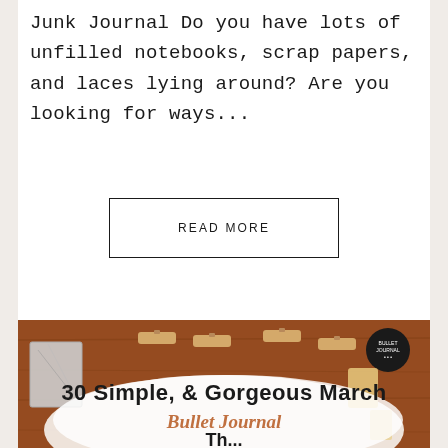Junk Journal Do you have lots of unfilled notebooks, scrap papers, and laces lying around? Are you looking for ways...
READ MORE
[Figure (photo): Photo of a wooden desk with small wooden clothespins, decorative items, a marbled paper book, and an envelope. Overlaid text reads: 30 Simple, & Gorgeous March Bullet Journal Th...]